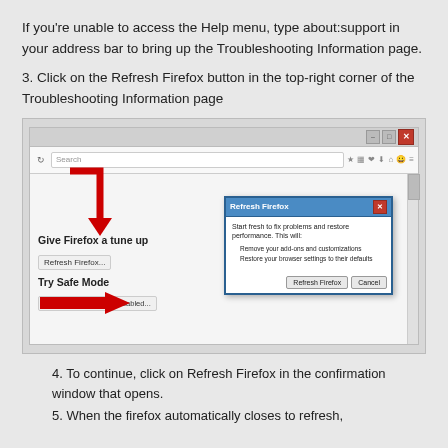If you're unable to access the Help menu, type about:support in your address bar to bring up the Troubleshooting Information page.
3. Click on the Refresh Firefox button in the top-right corner of the Troubleshooting Information page
[Figure (screenshot): Firefox browser window showing 'Give Firefox a tune up' section with 'Refresh Firefox...' button and 'Try Safe Mode' section with 'Restart with Add-ons Disabled...' button. A red arrow points down to the Refresh Firefox button. A 'Refresh Firefox' dialog box is shown on the right side of the browser, with text about starting fresh, removing add-ons and customizations, and restoring browser settings. A red arrow points to the 'Refresh Firefox' button in the dialog.]
4. To continue, click on Refresh Firefox in the confirmation window that opens.
5. When the firefox automatically closes to refresh,